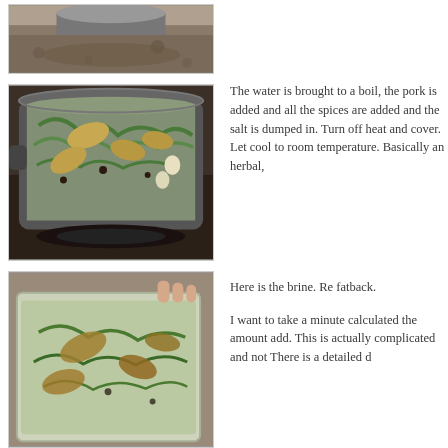[Figure (photo): Top photo (partial): close-up of a pot or mortar on a granite countertop with ground spice mixture]
[Figure (photo): Middle photo: a large pot on a stove containing water with bay leaves, fresh green herbs, garlic, and other spices — the brine being prepared]
The water is brought to a boil, the pork is added and all the spices are added and the salt is dumped in. Turn off heat and cover. Let cool to room temperature. Basically an herbal,
[Figure (photo): Bottom photo: a plastic container filled with the cooled brine containing bay leaves, green herbs, and other spices — the brine ready for fatback]
Here is the brine. Re fatback.
I want to take a minute calculated the amou add. This is actually complicated and not There is a detailed d